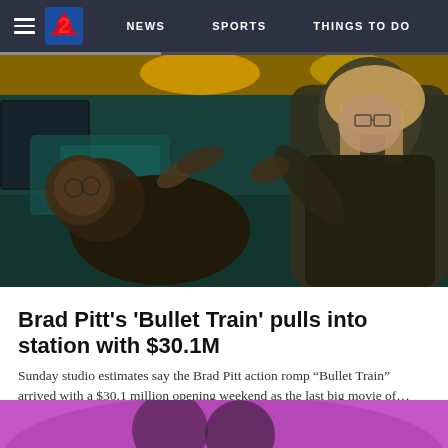NEWS  SPORTS  THINGS TO DO
[Figure (photo): Scene from the movie Bullet Train showing two characters fighting inside a train car with green/teal lighting and yellow ceiling]
Brad Pitt's 'Bullet Train' pulls into station with $30.1M
Sunday studio estimates say the Brad Pitt action romp “Bullet Train” arrived with a $30.1 million opening weekend as the last big movie of...
[Figure (photo): Partial view of another movie still or news image with purple/pink background, persons visible from shoulders]